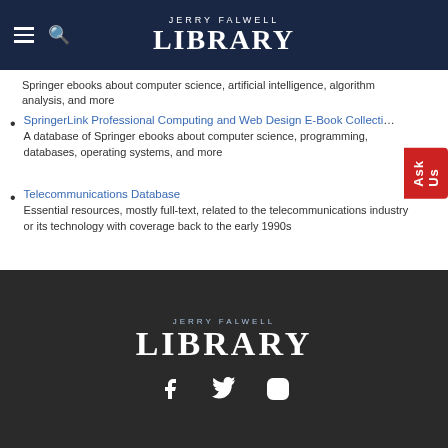Jerry Falwell Library
Springer ebooks about computer science, artificial intelligence, algorithm analysis, and more
SpringerLink Professional Computing and Web Design E-Book Collection
A database of Springer ebooks about computer science, programming, databases, operating systems, and more
Telecommunications Database
Essential resources, mostly full-text, related to the telecommunications industry or its technology with coverage back to the early 1990s
[Figure (logo): Jerry Falwell Library logo in white on dark background with social media icons (Facebook, Twitter, Instagram)]